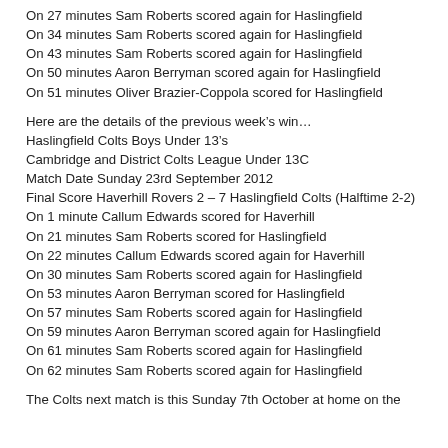On 27 minutes Sam Roberts scored again for Haslingfield
On 34 minutes Sam Roberts scored again for Haslingfield
On 43 minutes Sam Roberts scored again for Haslingfield
On 50 minutes Aaron Berryman scored again for Haslingfield
On 51 minutes Oliver Brazier-Coppola scored for Haslingfield
Here are the details of the previous week's win…
Haslingfield Colts Boys Under 13's
Cambridge and District Colts League Under 13C
Match Date Sunday 23rd September 2012
Final Score Haverhill Rovers 2 – 7 Haslingfield Colts (Halftime 2-2)
On 1 minute Callum Edwards scored for Haverhill
On 21 minutes Sam Roberts scored for Haslingfield
On 22 minutes Callum Edwards scored again for Haverhill
On 30 minutes Sam Roberts scored again for Haslingfield
On 53 minutes Aaron Berryman scored for Haslingfield
On 57 minutes Sam Roberts scored again for Haslingfield
On 59 minutes Aaron Berryman scored again for Haslingfield
On 61 minutes Sam Roberts scored again for Haslingfield
On 62 minutes Sam Roberts scored again for Haslingfield
The Colts next match is this Sunday 7th October at home on the